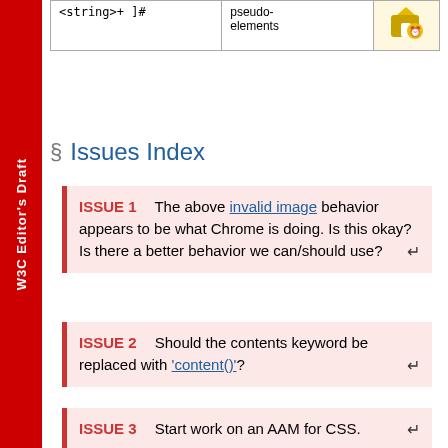| <string>+ ]# | pseudo-elements |  |
§ Issues Index
ISSUE 1    The above invalid image behavior appears to be what Chrome is doing. Is this okay? Is there a better behavior we can/should use?
ISSUE 2    Should the contents keyword be replaced with 'content()'?
ISSUE 3    Start work on an AAM for CSS.